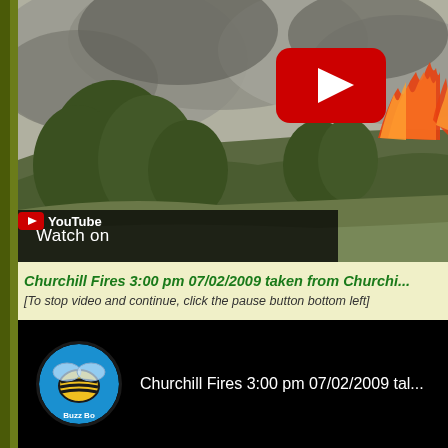[Figure (screenshot): YouTube video thumbnail showing a wildfire scene with smoke and flames over trees/hillside, with a red YouTube play button overlay and 'Watch on YouTube' bar at bottom]
Churchill Fires 3:00 pm 07/02/2009 taken from Churchi...
[To stop video and continue, click the pause button bottom left]
[Figure (screenshot): YouTube video player showing Churchill Fires 3:00 pm 07/02/2009, with channel avatar (Buzz Bo) on left and video title text on right, on black background]